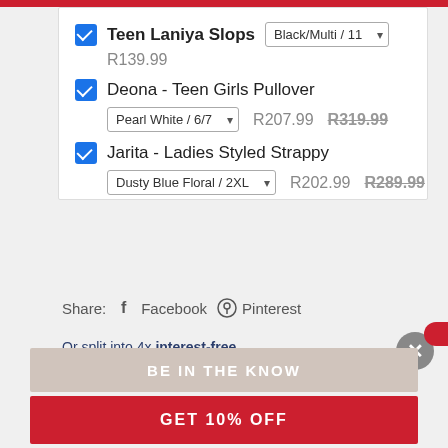Teen Laniya Slops - Black/Multi / 11 - R139.99
Deona - Teen Girls Pullover - Pearl White / 6/7 - R207.99 R319.99
Jarita - Ladies Styled Strappy - Dusty Blue Floral / 2XL - R202.99 R289.99
Share: Facebook Pinterest
Or split into 4x interest-free payments of R34.99 | Learn more
BE IN THE KNOW
GET 10% OFF